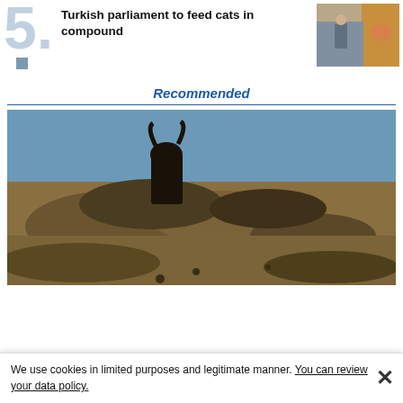5. Turkish parliament to feed cats in compound
[Figure (photo): Thumbnail photo of a person and a cat near a wall]
Recommended
[Figure (photo): Main large photo showing rocky terrain with a dark animal silhouette against a blue sky]
We use cookies in limited purposes and legitimate manner. You can review your data policy.